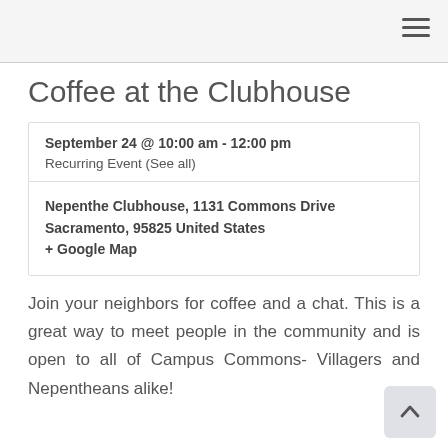Coffee at the Clubhouse
September 24 @ 10:00 am - 12:00 pm
Recurring Event (See all)
Nepenthe Clubhouse, 1131 Commons Drive Sacramento, 95825 United States
+ Google Map
Join your neighbors for coffee and a chat. This is a great way to meet people in the community and is open to all of Campus Commons- Villagers and Nepentheans alike!